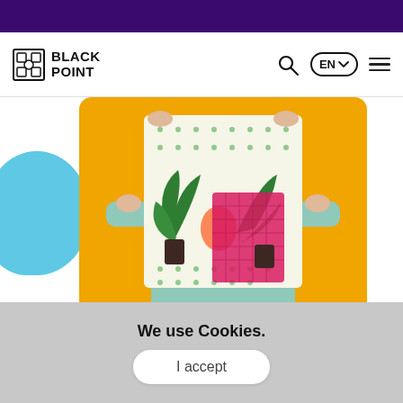[Figure (screenshot): Black Point website header with purple top bar and white navigation bar containing logo, search icon, language selector (EN), and hamburger menu]
[Figure (photo): Person holding up a decorative illustrated poster/canvas with plant and cat artwork, standing in front of an orange background, with a light blue blob shape on the left side]
We use Cookies.
I accept